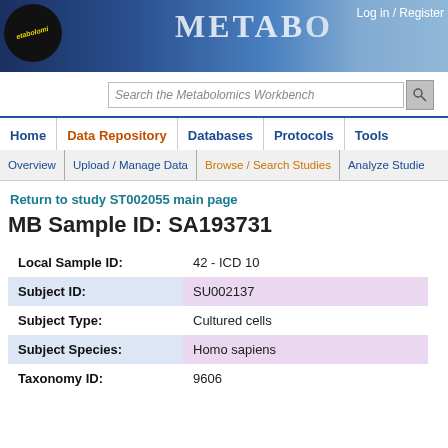Log in / Register | METABO
[Figure (logo): Metabolomics Workbench circular logo with yellow italic text on dark background]
Search the Metabolomics Workbench
Home | Data Repository | Databases | Protocols | Tools
Overview | Upload / Manage Data | Browse / Search Studies | Analyze Studies
Return to study ST002055 main page
MB Sample ID: SA193731
| Field | Value |
| --- | --- |
| Local Sample ID: | 42 - ICD 10 |
| Subject ID: | SU002137 |
| Subject Type: | Cultured cells |
| Subject Species: | Homo sapiens |
| Taxonomy ID: | 9606 |